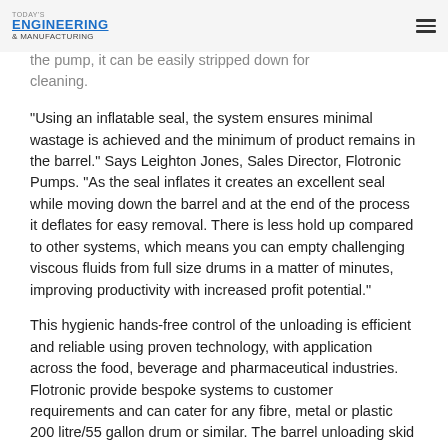Today's Engineering & Manufacturing
using the pump itself or an external OP rig or because of the 'ONE' the pump, it can be easily stripped down for cleaning.
“Using an inflatable seal, the system ensures minimal wastage is achieved and the minimum of product remains in the barrel.” Says Leighton Jones, Sales Director, Flotronic Pumps. “As the seal inflates it creates an excellent seal while moving down the barrel and at the end of the process it deflates for easy removal. There is less hold up compared to other systems, which means you can empty challenging viscous fluids from full size drums in a matter of minutes, improving productivity with increased profit potential.”
This hygienic hands-free control of the unloading is efficient and reliable using proven technology, with application across the food, beverage and pharmaceutical industries. Flotronic provide bespoke systems to customer requirements and can cater for any fibre, metal or plastic 200 litre/55 gallon drum or similar. The barrel unloading skid can be fully mobile or fixed in place, with the system designed to suit your needs, including roller systems if required